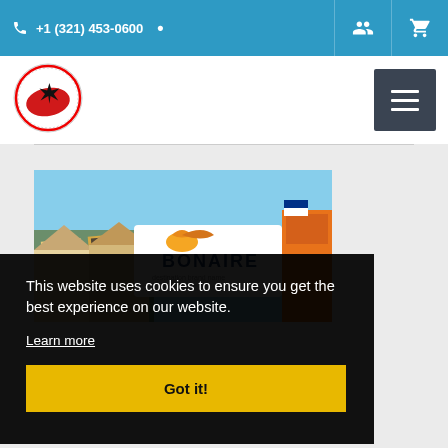+1 (321) 453-0600
[Figure (logo): Caribbean divers association circular logo with red and black design]
[Figure (screenshot): Bonaire tourism banner image showing buildings with solar panels and Bonaire destination sign]
This website uses cookies to ensure you get the best experience on our website.
Learn more
Got it!